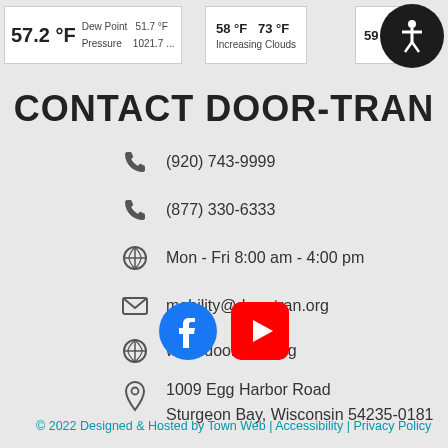[Figure (screenshot): Weather widget header showing 57.2°F, Dew Point 51.7°F, Pressure 1021.7..., 58°F 73°F Increasing Clouds, 59°F 77 Sun, accessibility icon]
CONTACT DOOR-TRAN
(920) 743-9999
(877) 330-6333
Mon - Fri 8:00 am - 4:00 pm
mobility@door-tran.org
www.door-tran.org
1009 Egg Harbor Road Sturgeon Bay, Wisconsin 54235-0181
[Figure (logo): Facebook and YouTube social media icons]
© 2022 Designed & Hosted by Town Web | Accessibility | Privacy Policy